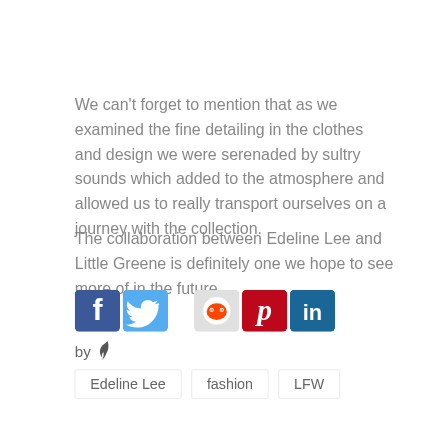We can't forget to mention that as we examined the fine detailing in the clothes and design we were serenaded by sultry sounds which added to the atmosphere and allowed us to really transport ourselves on a journey with the collection.
The collaboration between Edeline Lee and Little Greene is definitely one we hope to see more of in the future.
[Figure (infographic): Social media sharing icons: Facebook (blue), Twitter (blue), Reddit (grey), Pinterest (red), LinkedIn (dark blue)]
by [feather logo]
Edeline Lee
fashion
LFW